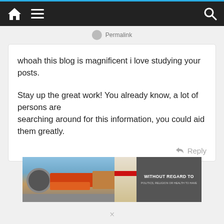Navigation bar with home, menu, and search icons
Permalink
whoah this blog is magnificent i love studying your posts.

Stay up the great work! You already know, a lot of persons are
searching around for this information, you could aid them greatly.
Reply
[Figure (photo): Advertisement banner showing cargo airplane being loaded on tarmac with text 'WITHOUT REGARD TO POLITICS, RELIGION OR HEALTH TO HAVE']
X